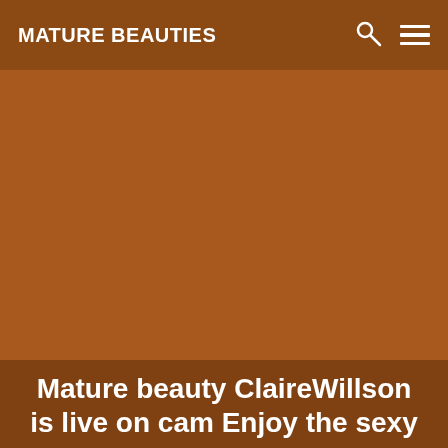MATURE BEAUTIES
[Figure (photo): Large brownish-orange background image area, mostly obscured or blank]
Mature beauty ClaireWillson is live on cam Enjoy the sexy